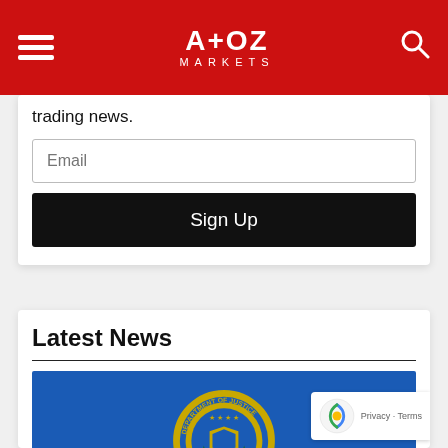A+OZ MARKETS
trading news.
[Figure (screenshot): Email input field with placeholder text 'Email' and a black Sign Up button below it]
Latest News
[Figure (photo): Department of Justice / FBI seal on a blue background]